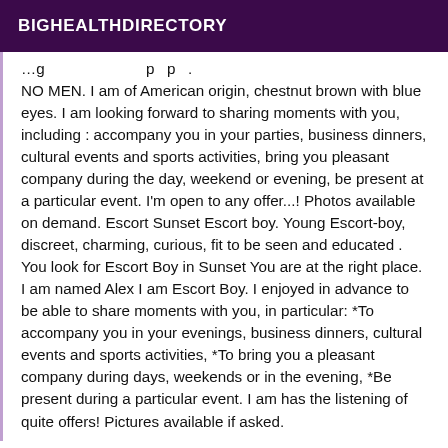BIGHEALTHDIRECTORY
NO MEN. I am of American origin, chestnut brown with blue eyes. I am looking forward to sharing moments with you, including : accompany you in your parties, business dinners, cultural events and sports activities, bring you pleasant company during the day, weekend or evening, be present at a particular event. I'm open to any offer...! Photos available on demand. Escort Sunset Escort boy. Young Escort-boy, discreet, charming, curious, fit to be seen and educated . You look for Escort Boy in Sunset You are at the right place. I am named Alex I am Escort Boy. I enjoyed in advance to be able to share moments with you, in particular: *To accompany you in your evenings, business dinners, cultural events and sports activities, *To bring you a pleasant company during days, weekends or in the evening, *Be present during a particular event. I am has the listening of quite offers! Pictures available if asked.